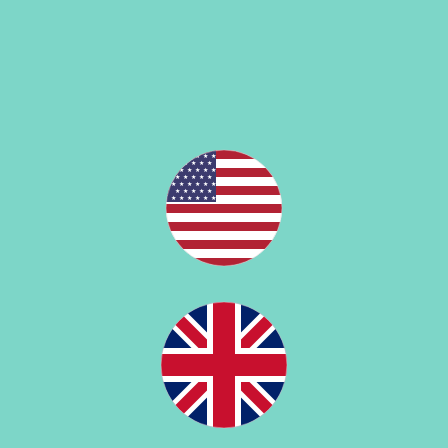[Figure (illustration): Circular US flag icon on teal/mint green background]
[Figure (illustration): Circular UK (Union Jack) flag icon on teal/mint green background]